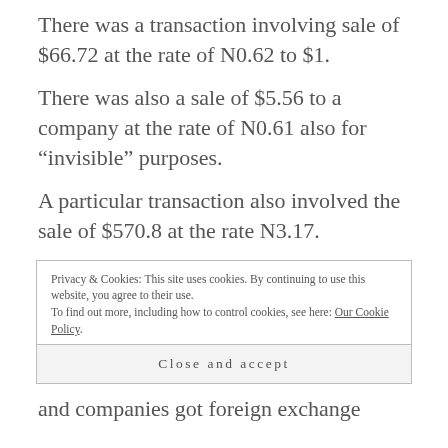There was a transaction involving sale of $66.72 at the rate of N0.62 to $1.
There was also a sale of $5.56 to a company at the rate of N0.61 also for “invisible” purposes.
A particular transaction also involved the sale of $570.8 at the rate N3.17.
Privacy & Cookies: This site uses cookies. By continuing to use this website, you agree to their use.
To find out more, including how to control cookies, see here: Our Cookie Policy
Close and accept
and companies got foreign exchange